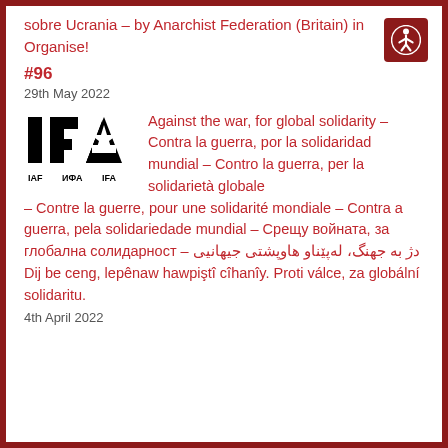sobre Ucrania – by Anarchist Federation (Britain) in Organise! #96
29th May 2022
[Figure (logo): IFA logo with star, showing IAF ИФА IFA text below]
Against the war, for global solidarity – Contra la guerra, por la solidaridad mundial – Contro la guerra, per la solidarietà globale – Contre la guerre, pour une solidarité mondiale – Contra a guerra, pela solidariedade mundial – Срещу войната, за глобална солидарност – دژ به جهنگ، لەپێناو هاوپشتی جیهانیی Dij be ceng, lepênaw hawpiştî cîhanîy. Proti válce, za globální solidaritu.
4th April 2022